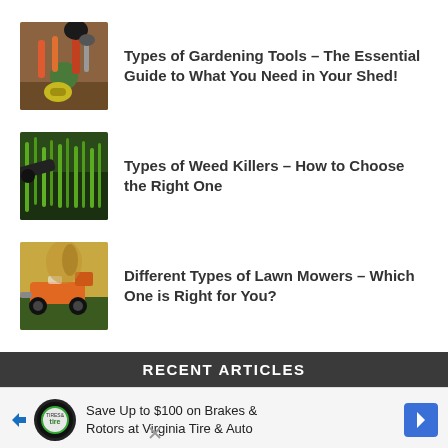Types of Gardening Tools – The Essential Guide to What You Need in Your Shed!
Types of Weed Killers – How to Choose the Right One
Different Types of Lawn Mowers – Which One is Right for You?
RECENT ARTICLES
Save Up to $100 on Brakes & Rotors at Virginia Tire & Auto